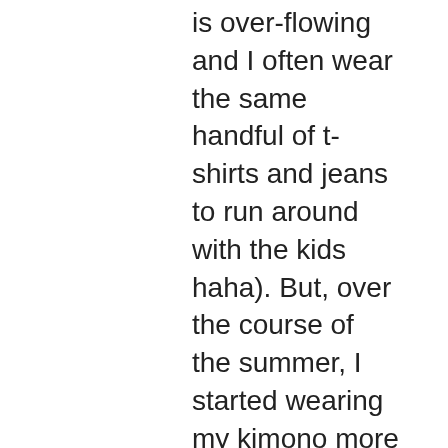is over-flowing and I often wear the same handful of t-shirts and jeans to run around with the kids haha). But, over the course of the summer, I started wearing my kimono more and more. Yes, I'd wear it on Saturday morning, when I still drink coffee in bed, and for nights' out and dinner dates (perhaps these were the anticipated occasions for use upon purchase), but I also found myself throwing it on to pick the kids up from camp or when grabbing a quick bite to eat with friends. I began to see how easy and versatile the piece really was. I was able to pair it with jeans, shorts, even dresses – and each outfit (surprisingly!) worked.